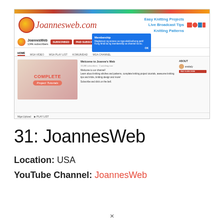[Figure (screenshot): Screenshot of JoannesWeb YouTube channel page showing the website header with logo and links 'Easy Knitting Projects', 'Live Broadcast Tips', 'Knitting Patterns', channel subscription info, navigation tabs, a membership popup, channel thumbnail with 'COMPLETE Project Tutorials', channel description, and sidebar.]
31: JoannesWeb
Location: USA
YouTube Channel: JoannesWeb